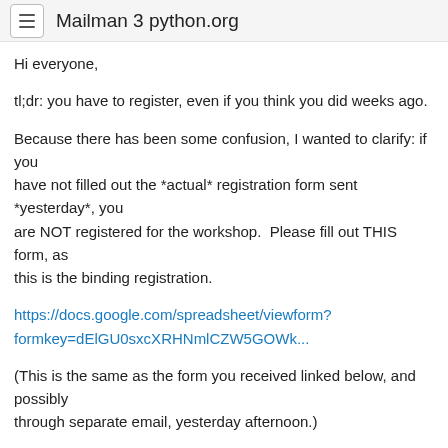Mailman 3 python.org
Hi everyone,
tl;dr: you have to register, even if you think you did weeks ago.
Because there has been some confusion, I wanted to clarify: if you have not filled out the *actual* registration form sent *yesterday*, you are NOT registered for the workshop.  Please fill out THIS form, as this is the binding registration.
https://docs.google.com/spreadsheet/viewform?formkey=dElGU0sxcXRHNmlCZW5GOWk...
(This is the same as the form you received linked below, and possibly through separate email, yesterday afternoon.)
Apologies for the confusion -- we had to gauge interest in advance of